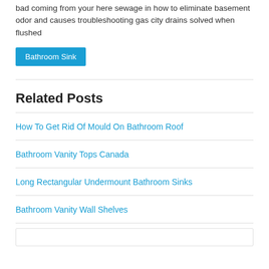bad coming from your here sewage in how to eliminate basement odor and causes troubleshooting gas city drains solved when flushed
Bathroom Sink
Related Posts
How To Get Rid Of Mould On Bathroom Roof
Bathroom Vanity Tops Canada
Long Rectangular Undermount Bathroom Sinks
Bathroom Vanity Wall Shelves